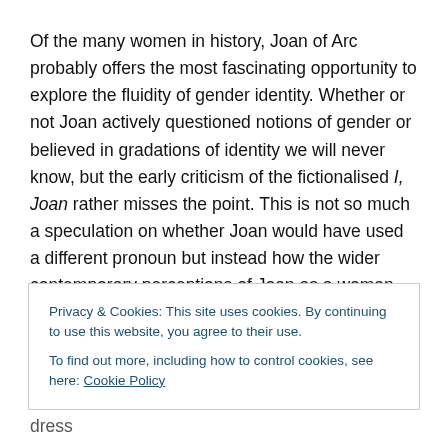Of the many women in history, Joan of Arc probably offers the most fascinating opportunity to explore the fluidity of gender identity. Whether or not Joan actively questioned notions of gender or believed in gradations of identity we will never know, but the early criticism of the fictionalised I, Joan rather misses the point. This is not so much a speculation on whether Joan would have used a different pronoun but instead how the wider contemporary perceptions of Joan as a woman were a barrier to be
Privacy & Cookies: This site uses cookies. By continuing to use this website, you agree to their use.
To find out more, including how to control cookies, see here: Cookie Policy
Close and accept
and interpret God's word and to adopt masculine dress